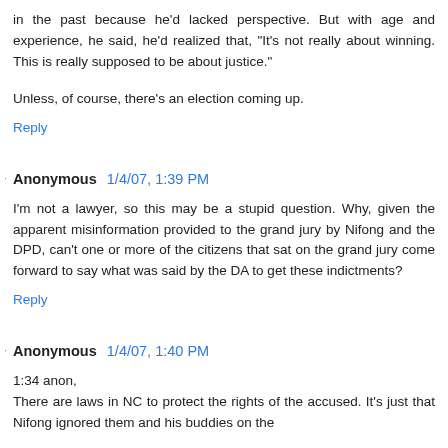in the past because he'd lacked perspective. But with age and experience, he said, he'd realized that, "It's not really about winning. This is really supposed to be about justice."
Unless, of course, there's an election coming up.
Reply
Anonymous 1/4/07, 1:39 PM
I'm not a lawyer, so this may be a stupid question. Why, given the apparent misinformation provided to the grand jury by Nifong and the DPD, can't one or more of the citizens that sat on the grand jury come forward to say what was said by the DA to get these indictments?
Reply
Anonymous 1/4/07, 1:40 PM
1:34 anon,
There are laws in NC to protect the rights of the accused. It's just that Nifong ignored them and his buddies on the